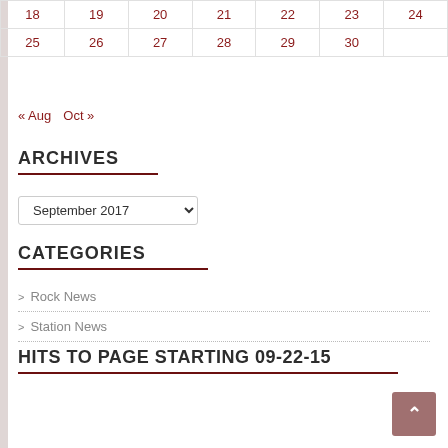| 18 | 19 | 20 | 21 | 22 | 23 | 24 |
| 25 | 26 | 27 | 28 | 29 | 30 |  |
« Aug   Oct »
ARCHIVES
September 2017
CATEGORIES
> Rock News
> Station News
HITS TO PAGE STARTING 09-22-15